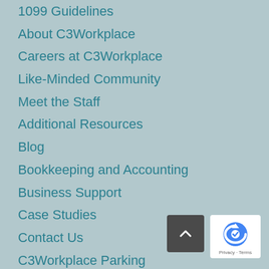1099 Guidelines
About C3Workplace
Careers at C3Workplace
Like-Minded Community
Meet the Staff
Additional Resources
Blog
Bookkeeping and Accounting
Business Support
Case Studies
Contact Us
C3Workplace Parking
Download Tools
Education
Email Marketing Training 101
Events